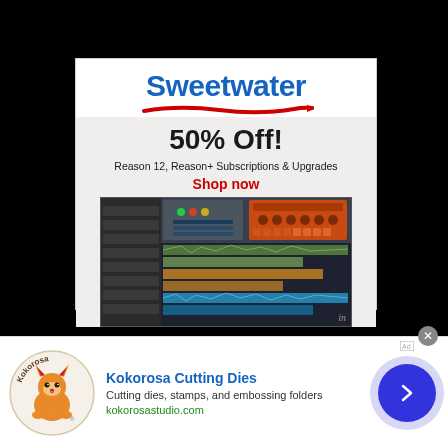[Figure (screenshot): Sweetwater advertisement banner showing 50% off Reason 12 software with DAW screenshot]
Sweetwater
50% Off!
Reason 12, Reason+ Subscriptions & Upgrades
Shop now
[Figure (screenshot): DAW software screenshot showing Reason 12 interface with tracks, mixer and instruments]
[Figure (logo): Kokorosa brand logo with fox character]
Kokorosa Cutting Dies
Cutting dies, stamps, and embossing folders
kokorosastudio.com